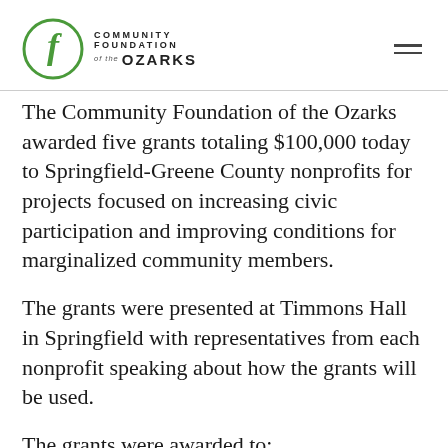Community Foundation of the Ozarks
The Community Foundation of the Ozarks awarded five grants totaling $100,000 today to Springfield-Greene County nonprofits for projects focused on increasing civic participation and improving conditions for marginalized community members.
The grants were presented at Timmons Hall in Springfield with representatives from each nonprofit speaking about how the grants will be used.
The grants were awarded to:
A Girl Like Me Network: $12,000 for the Level